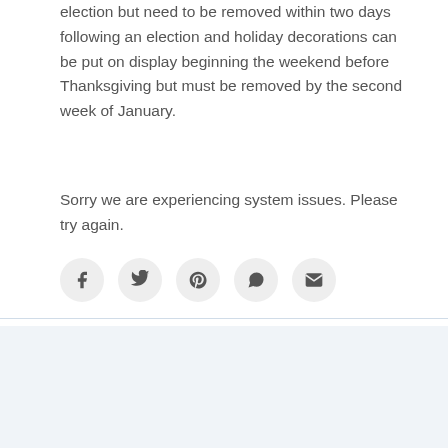election but need to be removed within two days following an election and holiday decorations can be put on display beginning the weekend before Thanksgiving but must be removed by the second week of January.
Sorry we are experiencing system issues. Please try again.
[Figure (infographic): Row of five circular social share icon buttons: Facebook, Twitter, Pinterest, WhatsApp, Email]
HELPFUL RESOURCES
Meet Our Agents